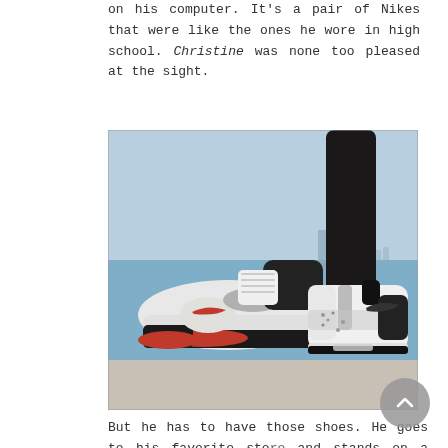on his computer. It's a pair of Nikes that were like the ones he wore in high school. Christine was none too pleased at the sight.
[Figure (photo): Photo of a pair of Air Jordan 4 sneakers (white/cement colorway) shown from the heel and sole perspective, worn by a person standing outdoors near water with a city skyline in the background.]
But he has to have those shoes. He goes to his favorite store and stands on a long line for the release. At the end of the line, he runs into his old friend Bobby, whom he hasn't seen since giving up the sneaker game, mainly because Bobby's schemes